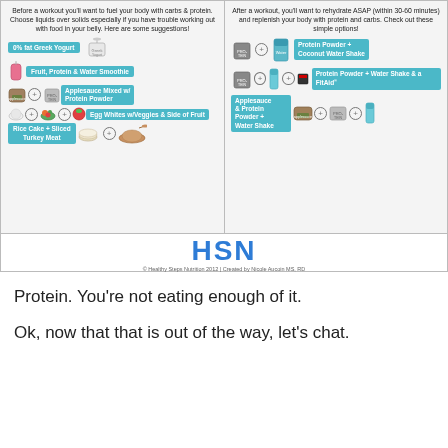[Figure (infographic): Two-panel infographic about pre- and post-workout nutrition. Left panel: 'Before a workout you'll want to fuel your body with carbs & protein. Choose liquids over solids especially if you have trouble working out with food in your belly. Here are some suggestions!' with options: 0% fat Greek Yogurt; Fruit, Protein & Water Smoothie; Applesauce Mixed w/ Protein Powder; Egg Whites w/Veggies & Side of Fruit; Rice Cake + Sliced Turkey Meat. Right panel: 'After a workout, you'll want to rehydrate ASAP (within 30-60 minutes) and replenish your body with protein and carbs. Check out these simple options!' with options: Protein Powder + Coconut Water Shake; Protein Powder + Water Shake & a FitAid; Applesauce & Protein Powder + Water Shake. Footer: HSN logo and '© Healthy Steps Nutrition 2012 | Created by Nicole Aucoin MS, RD']
Protein. You're not eating enough of it.
Ok, now that that is out of the way, let's chat.